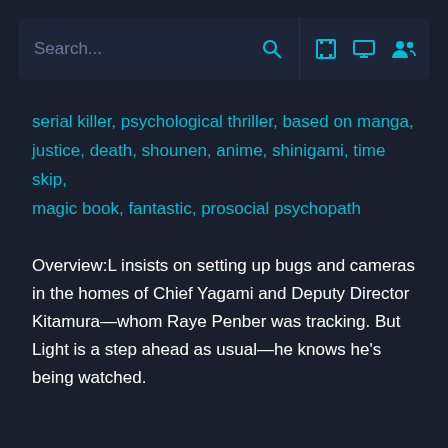Search...
serial killer, psychological thriller, based on manga, justice, death, shounen, anime, shinigami, time skip, magic book, fantastic, prosocial psychopath
Overview:L insists on setting up bugs and cameras in the homes of Chief Yagami and Deputy Director Kitamura—whom Raye Penber was tracking. But Light is a step ahead as usual—he knows he's being watched.